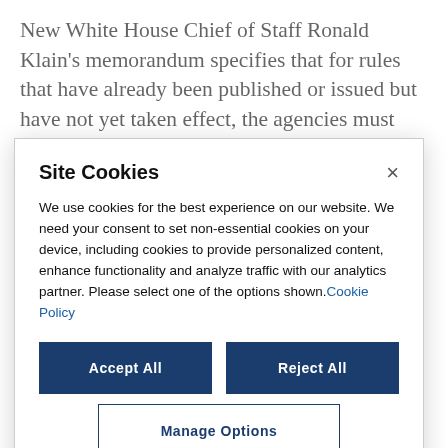New White House Chief of Staff Ronald Klain's memorandum specifies that for rules that have already been published or issued but have not yet taken effect, the agencies must consider postponing the rules' effective dates for 60 days from the date of the
[Figure (screenshot): A cookie consent modal dialog overlay on a webpage. The modal has a white background with a border and shadow. It contains the title 'Site Cookies' with a close (×) button. Body text reads: 'We use cookies for the best experience on our website. We need your consent to set non-essential cookies on your device, including cookies to provide personalized content, enhance functionality and analyze traffic with our analytics partner. Please select one of the options shown. Cookie Policy'. Two dark blue buttons labeled 'Accept All' and 'Reject All' side by side, and below them an outlined button labeled 'Manage Options'.]
category for loans eligible for purchase by Fannie Mae